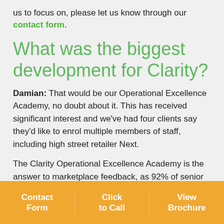us to focus on, please let us know through our contact form.
What was the biggest development for Clarity?
Damian: That would be our Operational Excellence Academy, no doubt about it. This has received significant interest and we've had four clients say they'd like to enrol multiple members of staff, including high street retailer Next.
The Clarity Operational Excellence Academy is the answer to marketplace feedback, as 92% of senior managers said their key constraint to growth is operational business imperatives and begin to deliver excellence at least
[Figure (infographic): Orange call-to-action bar with three buttons: Contact Form, Click to Call, View Brochure]